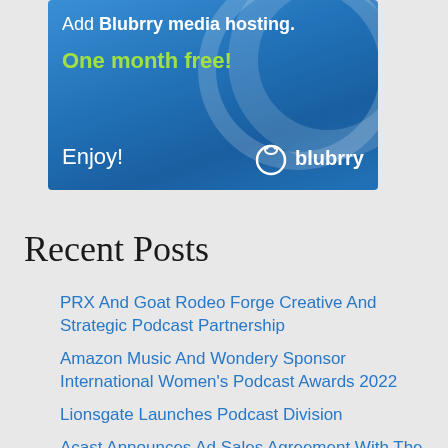[Figure (illustration): Blubrry media hosting advertisement banner with blue background, WordPress-style circle logo, green text 'One month free!', white text 'Add Blubrry media hosting.', 'Enjoy!' and the Blubrry logo]
Recent Posts
PRX And Goat Rodeo Forge Creative And Strategic Podcast Partnership
Amazon Music And Wondery Sponsor International Women's Podcast Awards 2022
Lionsgate Launches Podcast Division
Acast Announces Ad Sales Agreement With The New York Times
Independent Podcasters Have Earned $100k With Buzzsprout Ads